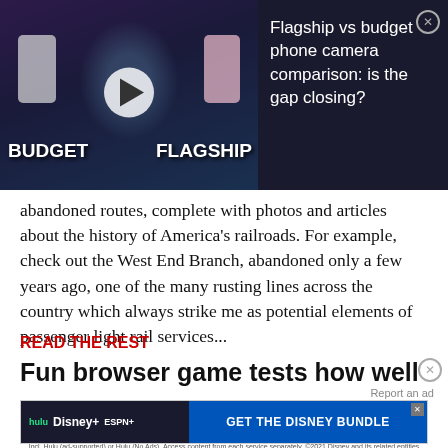[Figure (screenshot): Video ad thumbnail showing a man holding two phones (budget vs flagship) with a play button, titled 'Flagship vs budget phone camera comparison: is the gap closing?' with a close button]
abandoned routes, complete with photos and articles about the history of America's railroads. For example, check out the West End Branch, abandoned only a few years ago, one of the many rusting lines across the country which always strike me as potential elements of passenger light rail services...
READ THE REST
Fun browser game tests how well
[Figure (screenshot): Disney Bundle advertisement with Hulu, Disney+, ESPN+ logos and 'GET THE DISNEY BUNDLE' call to action. Fine print: Incl. Hulu (ad-supported) or Hulu (No Ads). Access content from each service separately. ©2021 Disney and its related entities]